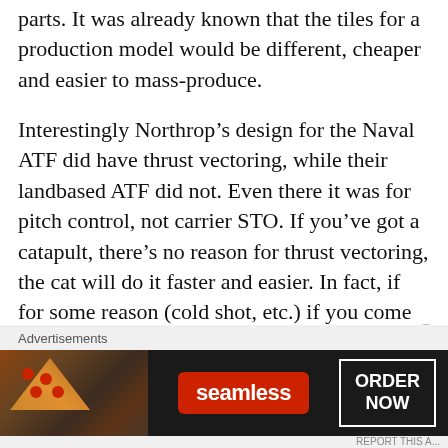parts. It was already known that the tiles for a production model would be different, cheaper and easier to mass-produce.
Interestingly Northrop’s design for the Naval ATF did have thrust vectoring, while their landbased ATF did not. Even there it was for pitch control, not carrier STO. If you’ve got a catapult, there’s no reason for thrust vectoring, the cat will do it faster and easier. In fact, if for some reason (cold shot, etc.) if you come off the deck too slow, nozzles vectored down could kill you because they’d pitch your nose right down into the sea.
[Figure (other): Advertisement banner for Seamless food delivery service, showing pizza image on left, Seamless logo in red badge in center, and ORDER NOW button outlined in white on right, on a dark background. Label 'Advertisements' appears above the banner.]